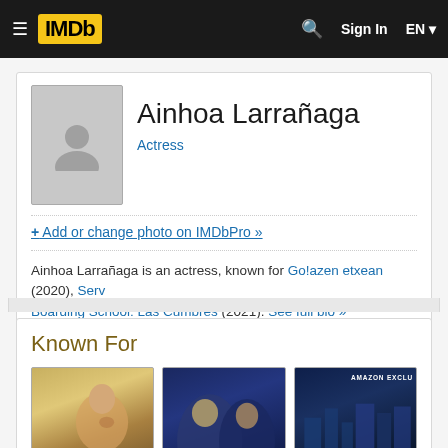IMDb — Sign In EN
Ainhoa Larrañaga
Actress
+ Add or change photo on IMDbPro »
Ainhoa Larrañaga is an actress, known for Go!azen etxean (2020), Serv... Boarding School: Las Cumbres (2021). See full bio »
More at IMDbPro »
Contact Info: View agent, publicist, legal on IMDbPro
Known For
[Figure (photo): Three movie thumbnail images under 'Known For' section, each with a plus badge overlay. First shows a young girl looking up (colorful background), second shows two women in dark blue tones, third shows dark blue cityscape with 'AMAZON EXCLU...' text.]